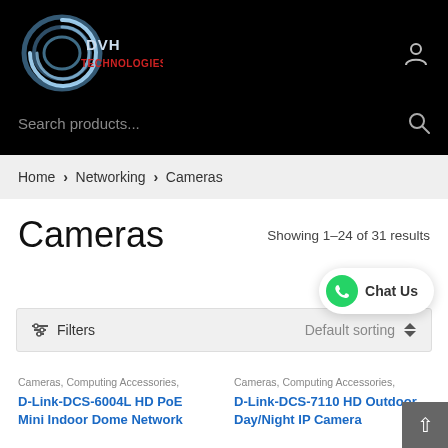DVH Technologies — Search products...
Home > Networking > Cameras
Cameras
Showing 1–24 of 31 results
Chat Us
Filters   Default sorting
Cameras, Computing Accessories,
D-Link-DCS-6004L HD PoE Mini Indoor Dome Network
Cameras, Computing Accessories,
D-Link-DCS-7110 HD Outdoor Day/Night IP Camera